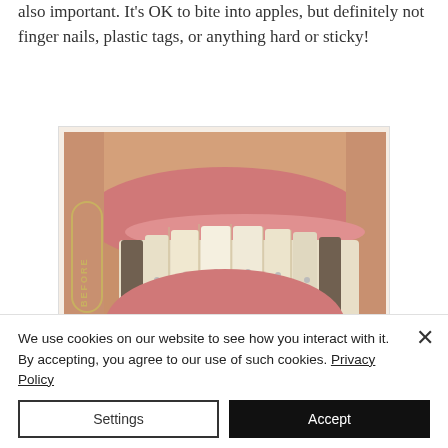also important. It's OK to bite into apples, but definitely not finger nails, plastic tags, or anything hard or sticky!
[Figure (photo): Close-up photo of a person's mouth/smile showing teeth with braces or dental work, labeled 'BEFORE' on the left side in a rounded pill-shaped border. A partial second image (AFTER) is visible below.]
We use cookies on our website to see how you interact with it. By accepting, you agree to our use of such cookies. Privacy Policy
Settings
Accept